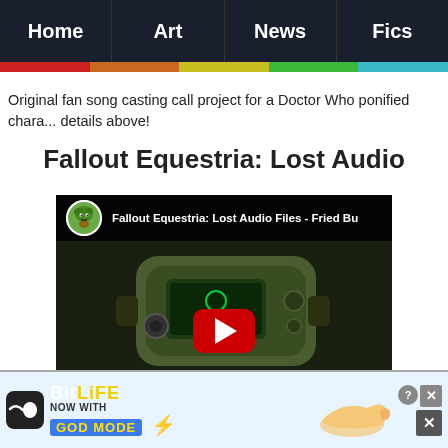Home | Art | News | Fics
Original fan song casting call project for a Doctor Who ponified chara... details above!
Fallout Equestria: Lost Audio Files
[Figure (screenshot): YouTube video embed showing 'Fallout Equestria: Lost Audio Files - Fried Bu...' with a Pip-Boy device on a dark background and a red YouTube play button]
[Figure (screenshot): BitLife advertisement banner with 'NOW WITH GOD MODE' text and game characters]